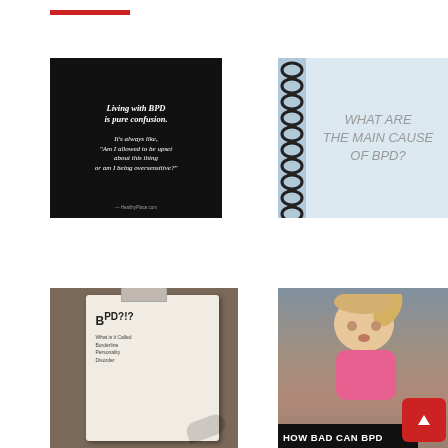[Figure (illustration): Red horizontal bar/line at top left of page]
[Figure (illustration): Black background quote image: 'Living with BPD is pure confusion. It's always like, "Am I allowed to be upset about this thing or am I being oversensitive?" — HealthyPlace.com']
[Figure (illustration): Light blue/grey notebook page with spiral binding on left, handwritten-style text: 'WHAT ARE THE MAIN CAUSES OF BPD?']
[Figure (photo): Photo of hands writing on a clipboard. Text on clipboard reads 'BPD?!?' and smaller text below listing Borderline Personality Disorder characteristics]
[Figure (photo): Photo of a young blonde girl in pink jacket sitting at desk looking surprised/confused, with meme text bar at bottom reading 'HOW BAD CAN BPD', with a red scroll-to-top button in bottom right corner]